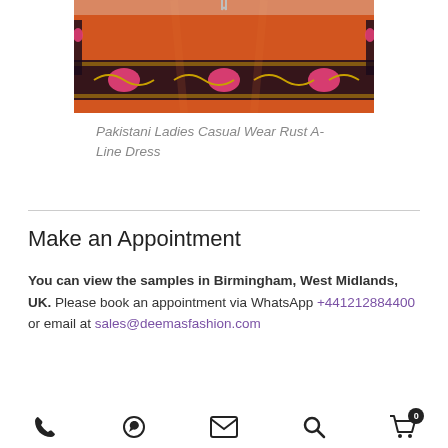[Figure (photo): Orange Pakistani ladies casual wear rust A-line dress with black and pink floral embroidery border, displayed on a hanger against a light background.]
Pakistani Ladies Casual Wear Rust A-Line Dress
Make an Appointment
You can view the samples in Birmingham, West Midlands, UK. Please book an appointment via WhatsApp +441212884400 or email at sales@deemasfashion.com
Phone | WhatsApp | Email | Search | Cart (0)